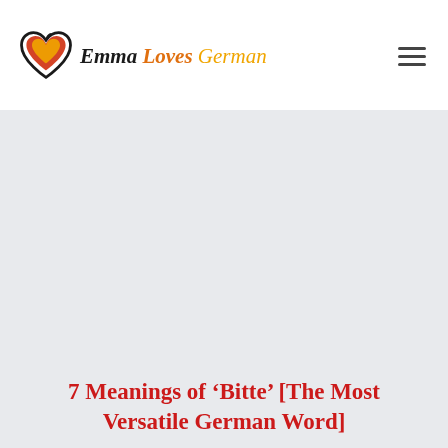[Figure (logo): Emma Loves German logo with a heart icon and stylized text]
[Figure (illustration): Light grey hero image placeholder area]
7 Meanings of ‘Bitte’ [The Most Versatile German Word]